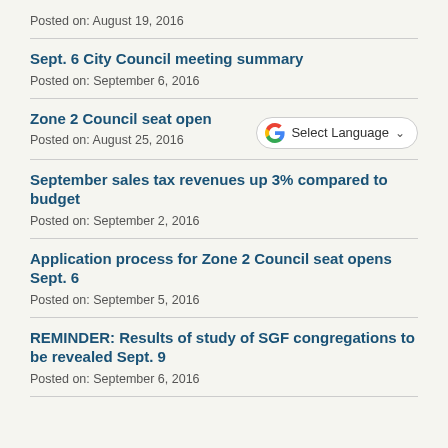Posted on: August 19, 2016
Sept. 6 City Council meeting summary
Posted on: September 6, 2016
Zone 2 Council seat open
Posted on: August 25, 2016
September sales tax revenues up 3% compared to budget
Posted on: September 2, 2016
Application process for Zone 2 Council seat opens Sept. 6
Posted on: September 5, 2016
REMINDER: Results of study of SGF congregations to be revealed Sept. 9
Posted on: September 6, 2016